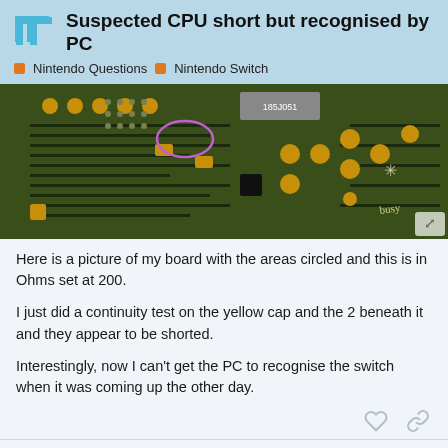Suspected CPU short but recognised by PC — Nintendo Questions > Nintendo Switch
[Figure (photo): Close-up macro photograph of a green circuit board (PCB) showing traces, solder pads, capacitors, and components with yellow highlighted solder joints. Areas are circled indicating suspected short locations. Measurement context: Ohms at 200.]
Here is a picture of my board with the areas circled and this is in Ohms set at 200.
I just did a continuity test on the yellow cap and the 2 beneath it and they appear to be shorted.
Interestingly, now I can't get the PC to recognise the switch when it was coming up the other day.
Severence — Apr 18
11 / 39